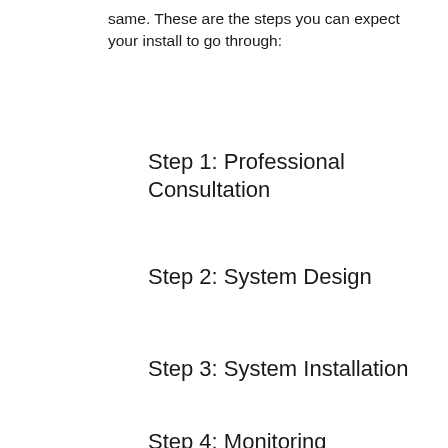same. These are the steps you can expect your install to go through:
Step 1: Professional Consultation
Step 2: System Design
Step 3: System Installation
Step 4: Monitoring